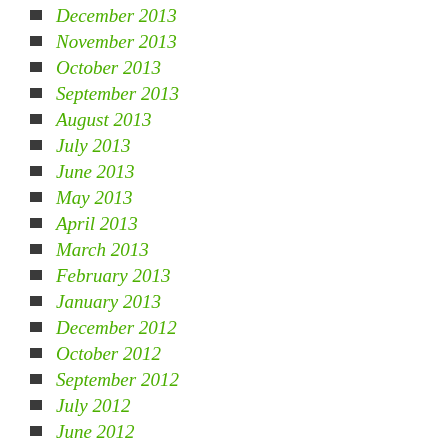December 2013
November 2013
October 2013
September 2013
August 2013
July 2013
June 2013
May 2013
April 2013
March 2013
February 2013
January 2013
December 2012
October 2012
September 2012
July 2012
June 2012
April 2012
March 2012
February 2012
January 2012
December 2011